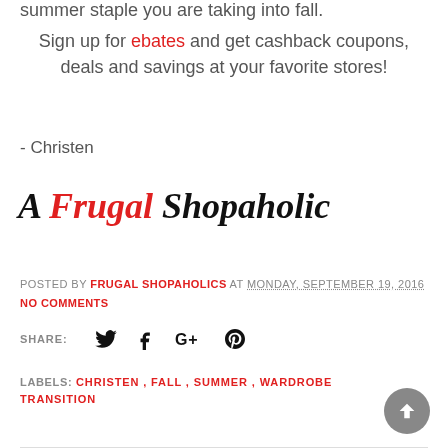summer staple you are taking into fall.
Sign up for ebates and get cashback coupons, deals and savings at your favorite stores!
- Christen
[Figure (logo): A Frugal Shopaholic cursive script logo — 'A' and 'Shopaholic' in black italic, 'Frugal' in red italic]
POSTED BY FRUGAL SHOPAHOLICS AT MONDAY, SEPTEMBER 19, 2016
NO COMMENTS
SHARE:
LABELS: CHRISTEN , FALL , SUMMER , WARDROBE TRANSITION